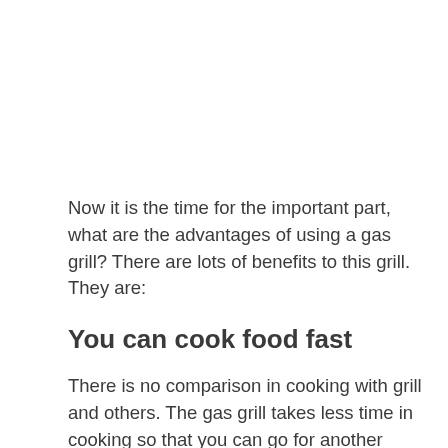Now it is the time for the important part, what are the advantages of using a gas grill? There are lots of benefits to this grill. They are:
You can cook food fast
There is no comparison in cooking with grill and others. The gas grill takes less time in cooking so that you can go for another work. If you are in a hurry, the grill also saves the